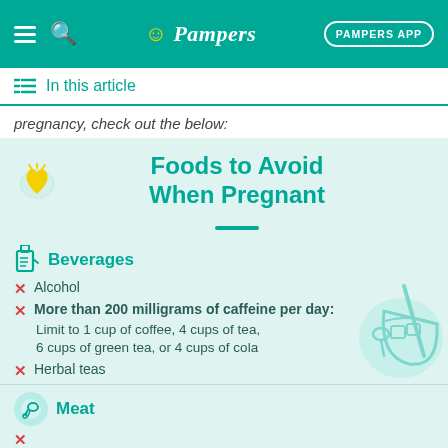Pampers | PAMPERS APP
In this article
pregnancy, check out the below:
[Figure (infographic): Infographic titled 'Foods to Avoid When Pregnant' on a light teal background. Shows a Beverages section with crossed-out items: Alcohol; More than 200 milligrams of caffeine per day with sub-note 'Limit to 1 cup of coffee, 4 cups of tea, 6 cups of green tea, or 4 cups of cola'; Herbal teas. A Meat section is also shown at the bottom with a chicken leg icon. A decorative cup/bowl illustration appears on the right side.]
Beverages
Alcohol
More than 200 milligrams of caffeine per day: Limit to 1 cup of coffee, 4 cups of tea, 6 cups of green tea, or 4 cups of cola
Herbal teas
Meat